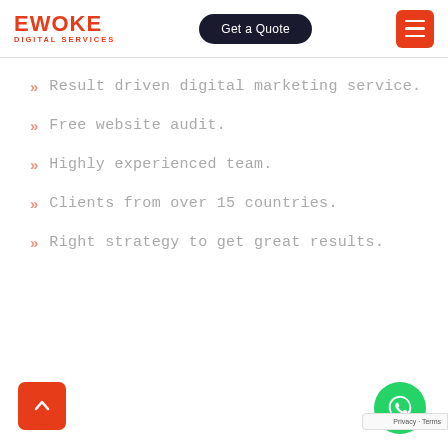EWOKE DIGITAL SERVICES — Get a Quote — Menu
Result driven digital marketing service.
Free website audit.
Highly experienced team.
Clients from over 15 countries.
Right strategy to get great results.